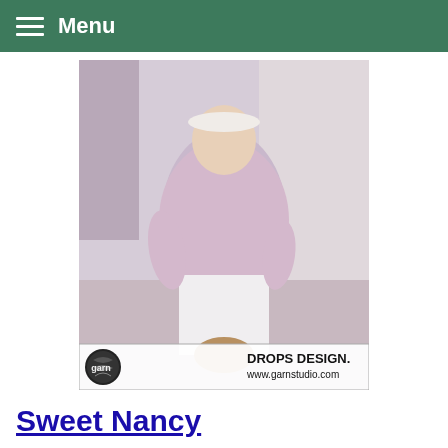Menu
[Figure (photo): Woman wearing a pink/lavender lace knitting shawl over a white dress, standing outdoors. Watermark at bottom shows DROPS DESIGN logo and www.garnstudio.com]
Sweet Nancy
A free knitting pattern using aran-weight yarn. Pattern attributes and techniques include: Cable, Lace pattern, Seamed…